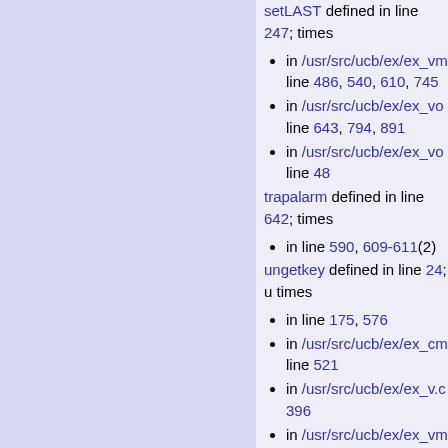setLAST defined in line 247; times
in /usr/src/ucb/ex/ex_vm line 486, 540, 610, 745
in /usr/src/ucb/ex/ex_vo line 643, 794, 891
in /usr/src/ucb/ex/ex_vo line 48
trapalarm defined in line 642; times
in line 590, 609-611(2)
ungetkey defined in line 24; u times
in line 175, 576
in /usr/src/ucb/ex/ex_cm line 521
in /usr/src/ucb/ex/ex_v.c 396
in /usr/src/ucb/ex/ex_vm line 155, 470, 505, 529,
in /usr/src/ucb/ex/ex_vo line 62
in /usr/src/ucb/ex/ex_vo line 880